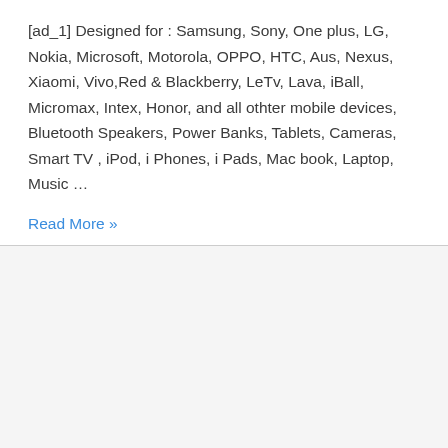[ad_1] Designed for : Samsung, Sony, One plus, LG, Nokia, Microsoft, Motorola, OPPO, HTC, Aus, Nexus, Xiaomi, Vivo,Red & Blackberry, LeTv, Lava, iBall, Micromax, Intex, Honor, and all othter mobile devices, Bluetooth Speakers, Power Banks, Tablets, Cameras, Smart TV , iPod, i Phones, i Pads, Mac book, Laptop, Music …
Read More »